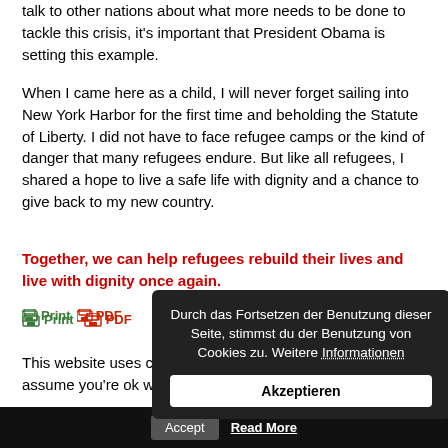talk to other nations about what more needs to be done to tackle this crisis, it's important that President Obama is setting this example.
When I came here as a child, I will never forget sailing into New York Harbor for the first time and beholding the Statute of Liberty. I did not have to face refugee camps or the kind of danger that many refugees endure. But like all refugees, I shared a hope to live a safe life with dignity and a chance to give back to my new country.
Together, we can help refugees rebuild their lives and live with dignity once again.
[Figure (screenshot): Cookie consent overlay in German with Akzeptieren button]
This website uses cookies to improve your experience. We'll assume you're ok with this, but you can opt-out if you wish.
Accept  Read More